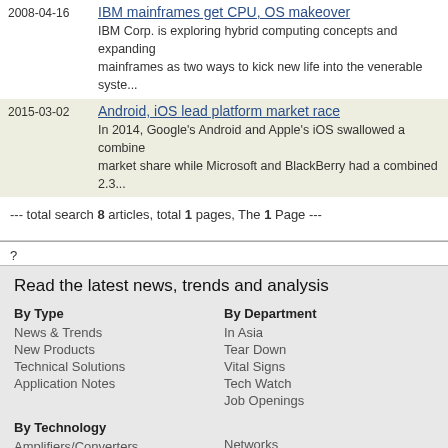| Date | Article |
| --- | --- |
| 2008-04-16 | IBM mainframes get CPU, OS makeover
IBM Corp. is exploring hybrid computing concepts and expanding mainframes as two ways to kick new life into the venerable syste... |
| 2015-03-02 | Android, iOS lead platform market race
In 2014, Google's Android and Apple's iOS swallowed a combined market share while Microsoft and BlackBerry had a combined 2.3... |
--- total search 8 articles, total 1 pages, The 1 Page ---
?
Read the latest news, trends and analysis
By Type
News & Trends
New Products
Technical Solutions
Application Notes
By Department
In Asia
Tear Down
Vital Signs
Tech Watch
Job Openings
By Technology
Amplifiers/Converters
Networks